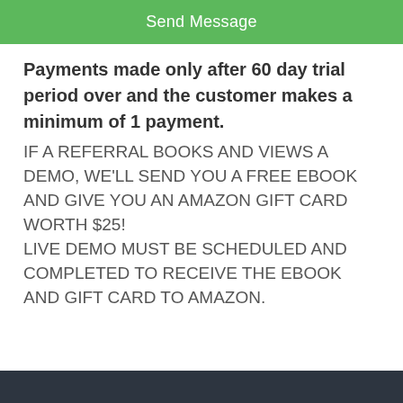Send Message
Payments made only after 60 day trial period over and the customer makes a minimum of 1 payment.
IF A REFERRAL BOOKS AND VIEWS A DEMO, WE'LL SEND YOU A FREE EBOOK AND GIVE YOU AN AMAZON GIFT CARD WORTH $25!
LIVE DEMO MUST BE SCHEDULED AND COMPLETED TO RECEIVE THE EBOOK AND GIFT CARD TO AMAZON.